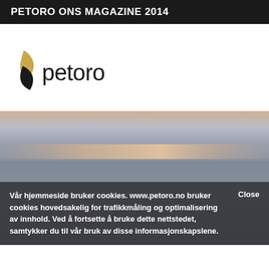PETORO ONS MAGAZINE 2014
[Figure (logo): Petoro company logo — a stylized flame/leaf mark in dark and gold, followed by the word 'petoro' in dark sans-serif text]
[Figure (photo): Seascape photo — calm ocean with a soft horizon and muted sunset sky in grey, blue and warm orange/pink tones]
Vår hjemmeside bruker cookies. www.petoro.no bruker cookies hovedsakelig for trafikkmåling og optimalisering av innhold. Ved å fortsette å bruke dette nettstedet, samtykker du til vår bruk av disse informasjonskapslene.
Close